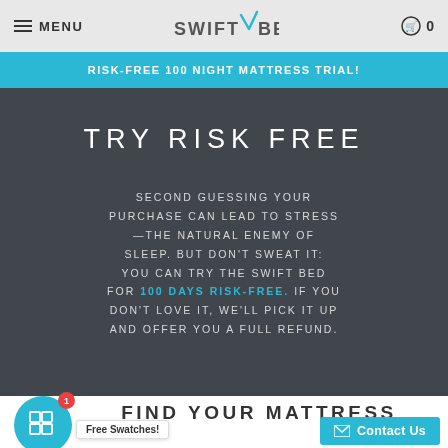MENU | SWIFT BED | 0
RISK-FREE 100 NIGHT MATTRESS TRIAL!
TRY RISK FREE
SECOND GUESSING YOUR PURCHASE CAN LEAD TO STRESS—THE NATURAL ENEMY OF SLEEP. BUT DON'T SWEAT IT: YOU CAN TRY THE SWIFT BED FOR 100 DAYS RISK-FREE. IF YOU DON'T LOVE IT, WE'LL PICK IT UP AND OFFER YOU A FULL REFUND.
FIND YOUR MATTRESS BLISS
Free Swatches!
Contact Us